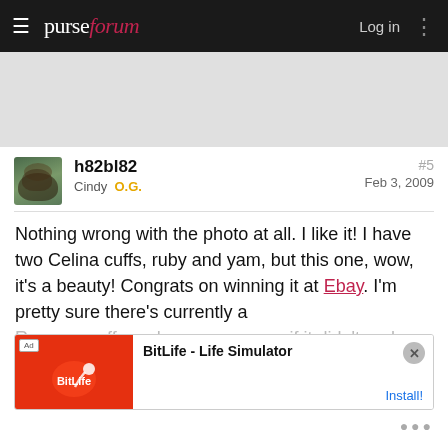purseforum — Log in
[Figure (screenshot): Gray advertisement placeholder banner]
h82bl82
Cindy O.G.
#5
Feb 3, 2009
Nothing wrong with the photo at all. I like it! I have two Celina cuffs, ruby and yam, but this one, wow, it's a beauty! Congrats on winning it at Ebay. I'm pretty sure there's currently a Ramona cuff on ebay... but if it didn't end up being the one exactly...
[Figure (screenshot): BitLife - Life Simulator ad banner with red background and install button]